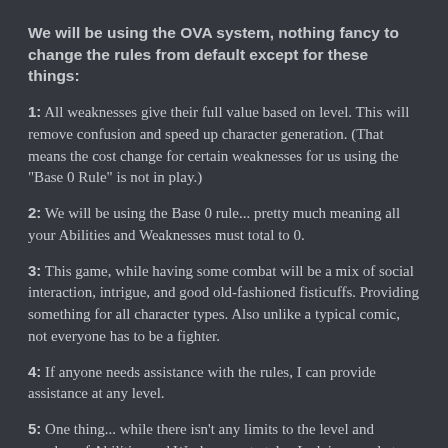We will be using the OVA system, nothing fancy to change the rules from default except for these things:
1: All weaknesses give their full value based on level. This will remove confusion and speed up character generation. (That means the cost change for certain weaknesses for us using the "Base 0 Rule" is not in play.)
2: We will be using the Base 0 rule... pretty much meaning all your Abilities and Weaknesses must total to 0.
3: This game, while having some combat will be a mix of social interaction, intrigue, and good old-fashioned fisticuffs. Providing something for all character types. Also unlike a typical comic, not everyone has to be a fighter.
4: If anyone needs assistance with the rules, I can provide assistance at any level.
5: One thing... while there isn't any limits to the level and number of Abilities and Weaknesses to take, I advise people to pare down to their bare-bones core concept before looking at fluffing